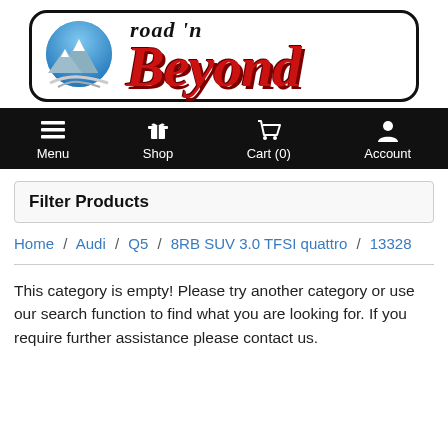[Figure (logo): Road 'n Beyond logo with mountain/road icon on left and stylized red italic 'Beyond' text]
Menu  Shop  Cart (0)  Account
Filter Products
Home / Audi / Q5 / 8RB SUV 3.0 TFSI quattro / 13328
This category is empty! Please try another category or use our search function to find what you are looking for. If you require further assistance please contact us.